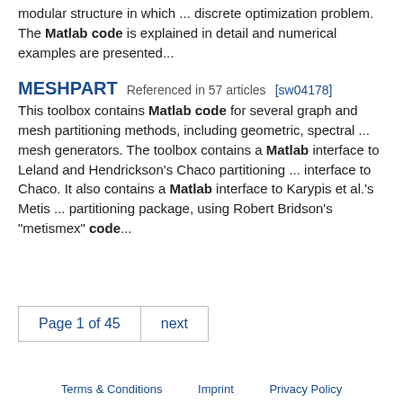modular structure in which ... discrete optimization problem. The Matlab code is explained in detail and numerical examples are presented...
MESHPART   Referenced in 57 articles [sw04178]
This toolbox contains Matlab code for several graph and mesh partitioning methods, including geometric, spectral ... mesh generators. The toolbox contains a Matlab interface to Leland and Hendrickson's Chaco partitioning ... interface to Chaco. It also contains a Matlab interface to Karypis et al.'s Metis ... partitioning package, using Robert Bridson's "metismex" code...
Page 1 of 45   next
Terms & Conditions   Imprint   Privacy Policy